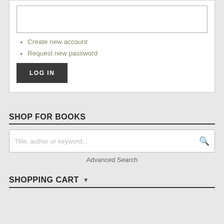[Figure (screenshot): Empty text input box (password or text field)]
Create new account
Request new password
[Figure (screenshot): LOG IN button, dark gray background with white text]
SHOP FOR BOOKS
[Figure (screenshot): Search input box with placeholder text 'Title, author or keyword...' and a search icon]
Advanced Search
SHOPPING CART